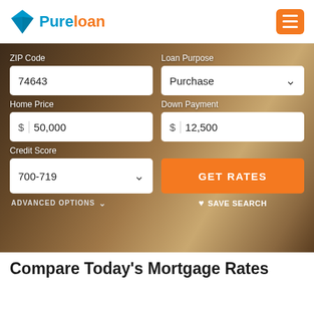[Figure (logo): Pureloan logo with blue/teal triangle icon and orange hamburger menu button]
[Figure (screenshot): Mortgage rate comparison form on a dark photo background with fields: ZIP Code (74643), Loan Purpose (Purchase), Home Price ($50,000), Down Payment ($12,500), Credit Score (700-719), GET RATES button, SAVE SEARCH link, ADVANCED OPTIONS]
Compare Today's Mortgage Rates